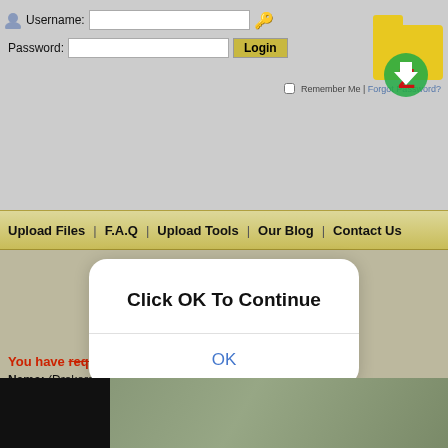[Figure (screenshot): Website login form with username and password fields, Login button, key icon, Remember Me checkbox, and Forgot Password link]
Upload Files | F.A.Q | Upload Tools | Our Blog | Contact Us
[Figure (screenshot): Modal dialog overlay showing 'Click OK To Continue' with OK button]
You have requested the file:
Name: (Drakorstation.com) Let's Fight Ghost.Ep04.(480p).mkv
Size: 140.81 MB
Uploaded: 11-08-2018 20:08
[Figure (photo): Blurred outdoor photo at bottom of page]